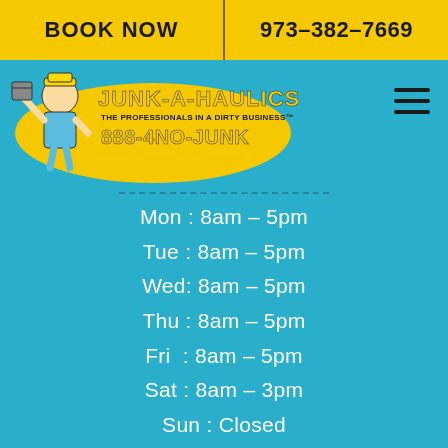BOOK NOW | 973-382-7669
[Figure (logo): Junk-A-Haulics logo with cartoon character holding junk, tagline 'The Professionals in a Dirty Business', phone 888-4NO-JUNK]
Mon : 8am – 5pm
Tue : 8am – 5pm
Wed: 8am – 5pm
Thu : 8am – 5pm
Fri  : 8am – 5pm
Sat : 8am – 3pm
Sun : Closed